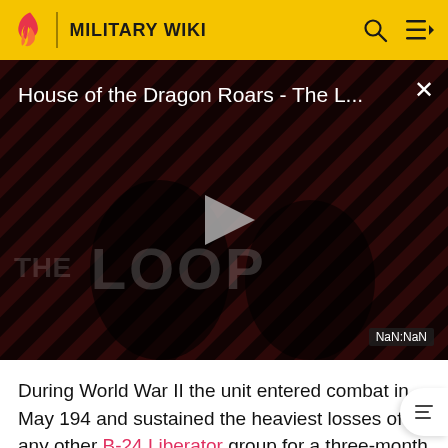MILITARY WIKI
[Figure (screenshot): Video player thumbnail showing 'House of the Dragon Roars - The L...' with a striped red/dark background, two silhouetted figures, a play button, 'THE LOOP' watermark text, and a NaN:NaN timestamp label. A close (X) button is in the top right.]
During World War II the unit entered combat in May 194 and sustained the heaviest losses of any other B-24 Liberator group for a three-month period. The group was withdrawn from combat with its personnel and equipment being reassigned to the unit. The 381st Bomb...